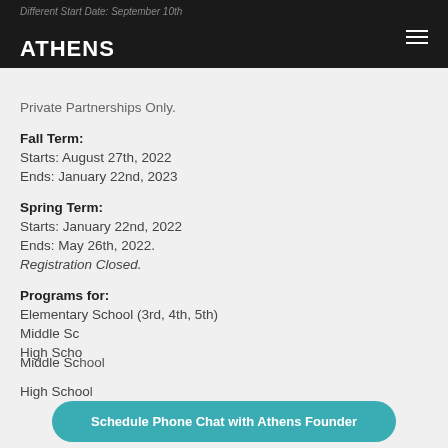Different Start Date: September 10th
ATHENS
San Francisco Location:
Private Partnerships Only.
Fall Term:
Starts: August 27th, 2022
Ends: January 22nd, 2023
Spring Term:
Starts: January 22nd, 2022
Ends: May 26th, 2022.
Registration Closed.
Programs for:
Elementary School (3rd, 4th, 5th)
Middle School
High School
Schedule Phone Chat with Athens Founder